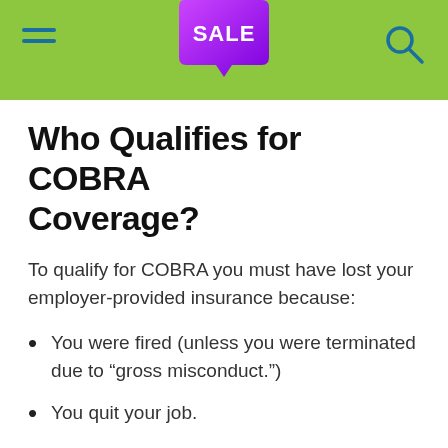SALE
Who Qualifies for COBRA Coverage?
To qualify for COBRA you must have lost your employer-provided insurance because:
You were fired (unless you were terminated due to “gross misconduct.”)
You quit your job.
You no longer qualify for employer-sponsored coverage because your hours were reduced.
Dependents can also use COBRA if they lose…